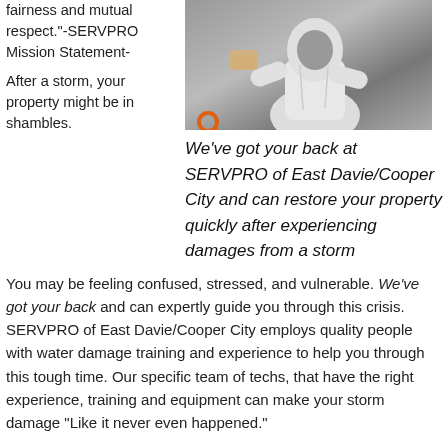fairness and mutual respect."-SERVPRO Mission Statement-
[Figure (photo): Worker in white protective suit handling materials]
We've got your back at SERVPRO of East Davie/Cooper City and can restore your property quickly after experiencing damages from a storm
After a storm, your property might be in shambles.
You may be feeling confused, stressed, and vulnerable. We've got your back and can expertly guide you through this crisis.  SERVPRO of East Davie/Cooper City employs quality people with water damage training and experience to help you through this tough time. Our specific team of techs, that have the right experience, training and equipment can make your storm damage "Like it never even happened."
When you call, we will ask several questions regarding your water damage emergency.  These questions will help us determine what equipment and resources to bring to your loss.  A determination is also made as to how many